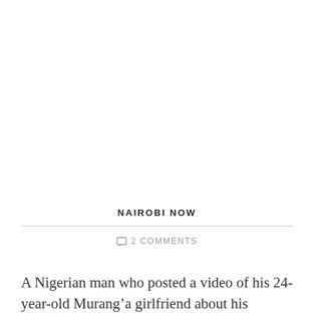NAIROBI NOW
2 COMMENTS
A Nigerian man who posted a video of his 24-year-old Murang’a girlfriend about his